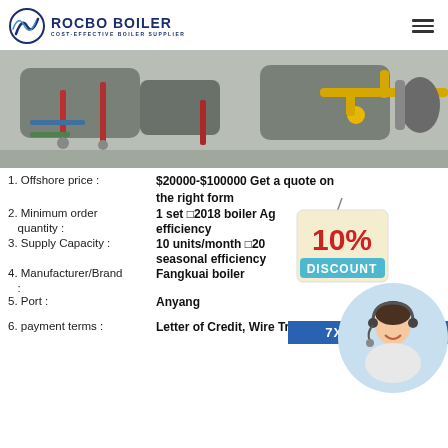[Figure (logo): Rocbo Boiler logo with circular wave icon and text 'ROCBO BOILER / COST-EFFECTIVE BOILER SUPPLIER']
[Figure (photo): Industrial boiler room with pipes and equipment, yellow gas pipes visible]
1. Offshore price : $20000-$100000 Get a quote on the right form
2. Minimum order quantity : 1 set □2018 boiler Ag... efficiency
3. Supply Capacity : 10 units/month □20... seasonal efficiency
4. Manufacturer/Brand : Fangkuai boiler
5. Port : Anyang
6. payment terms : Letter of Credit, Wire Transfer,
[Figure (infographic): 10% DISCOUNT promotional badge]
[Figure (photo): Customer support agent with headset smiling, 7X24 Online text below]